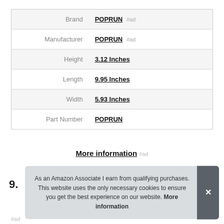|  |  |
| --- | --- |
| Brand | POPRUN #ad |
| Manufacturer | POPRUN #ad |
| Height | 3.12 Inches |
| Length | 9.95 Inches |
| Width | 5.93 Inches |
| Part Number | POPRUN |
More information #ad
9.
As an Amazon Associate I earn from qualifying purchases. This website uses the only necessary cookies to ensure you get the best experience on our website. More information
#ad